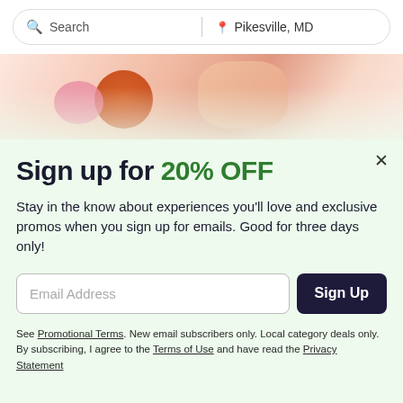Search | Pikesville, MD
[Figure (photo): Close-up photo of baby feet and colorful items on a light background]
Sign up for 20% OFF
Stay in the know about experiences you'll love and exclusive promos when you sign up for emails. Good for three days only!
Email Address [input field] Sign Up [button]
See Promotional Terms. New email subscribers only. Local category deals only. By subscribing, I agree to the Terms of Use and have read the Privacy Statement